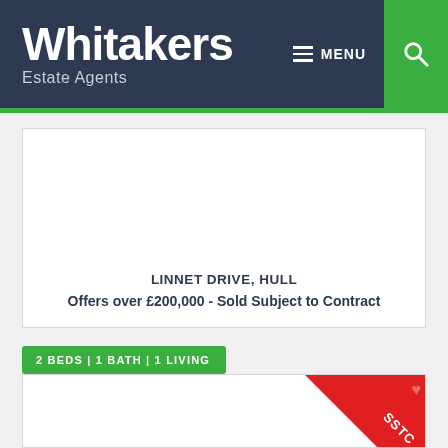[Figure (logo): Whitakers Estate Agents logo on dark navy header with green search button and MENU navigation]
LINNET DRIVE, HULL
Offers over £200,000 - Sold Subject to Contract
2 BEDS | 1 BATH | 1 LIVING
[Figure (other): Property listing card with SSTC red ribbon badge and heart icon]